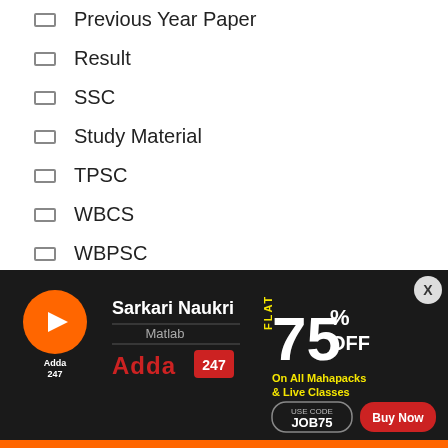Previous Year Paper
Result
SSC
Study Material
TPSC
WBCS
WBPSC
WBSSC
Weekly Current Affairs
West Bengal Police
West Bengal State GK
[Figure (infographic): Adda247 advertisement banner with dark background showing 'Sarkari Naukri Matlab Adda247' and 'FLAT 75% OFF On All Mahapacks & Live Classes' with USE CODE JOB75 and Buy Now button. Close button (X) in top right corner.]